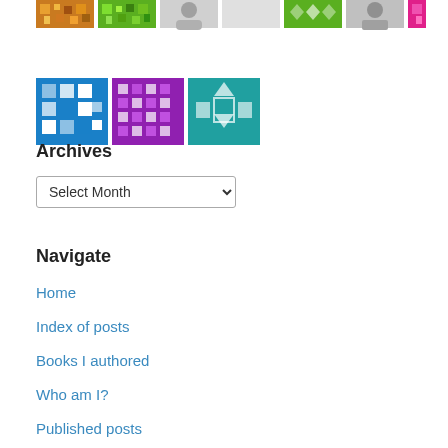[Figure (photo): Grid of avatar/profile images and patterned tile images in various colors — row 1 has orange mosaic, green pattern, gray portrait, solid color, green diamond pattern, portrait, pink/magenta pattern; row 2 has blue/white mosaic, purple/white checkerboard, teal/white geometric pattern]
Archives
Select Month (dropdown)
Navigate
Home
Index of posts
Books I authored
Who am I?
Published posts